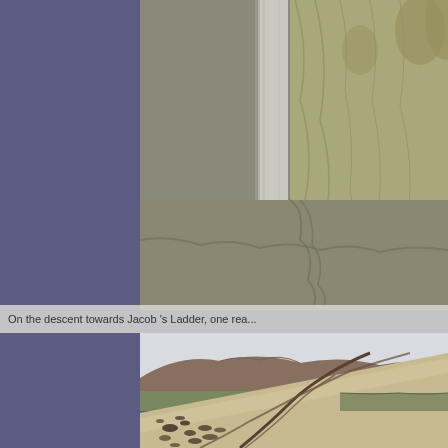[Figure (photo): Close-up photo of a wooden/concrete post with dried grass and moorland in the background, shot on a hillside.]
On the descent towards Jacob's Ladder, one rea...
[Figure (photo): Landscape photo of a steep moorland hillside with erosion channels/cracks, scattered dark peat patches, and a wide valley with hills in the background under a pale sky.]